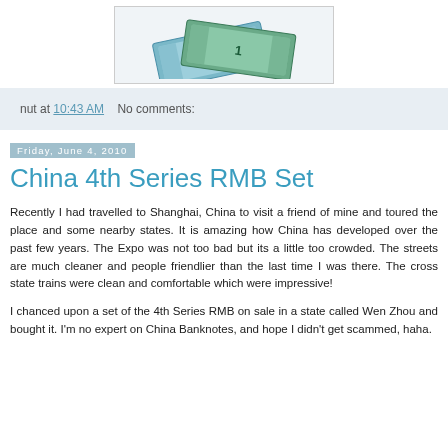[Figure (photo): Partial view of banknotes/currency notes fanned out, on white background, inside a bordered frame]
nut at 10:43 AM    No comments:
Friday, June 4, 2010
China 4th Series RMB Set
Recently I had travelled to Shanghai, China to visit a friend of mine and toured the place and some nearby states. It is amazing how China has developed over the past few years. The Expo was not too bad but its a little too crowded. The streets are much cleaner and people friendlier than the last time I was there. The cross state trains were clean and comfortable which were impressive!
I chanced upon a set of the 4th Series RMB on sale in a state called Wen Zhou and bought it. I'm no expert on China Banknotes, and hope I didn't get scammed, haha.